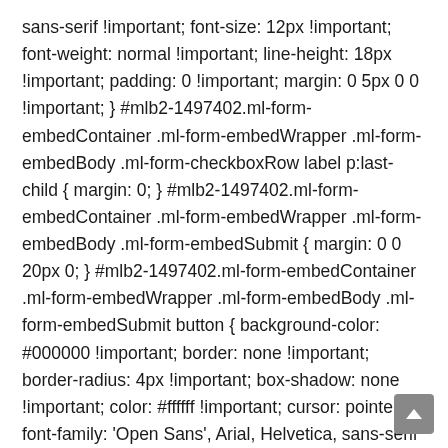sans-serif !important; font-size: 12px !important; font-weight: normal !important; line-height: 18px !important; padding: 0 !important; margin: 0 5px 0 0 !important; } #mlb2-1497402.ml-form-embedContainer .ml-form-embedWrapper .ml-form-embedBody .ml-form-checkboxRow label p:last-child { margin: 0; } #mlb2-1497402.ml-form-embedContainer .ml-form-embedWrapper .ml-form-embedBody .ml-form-embedSubmit { margin: 0 0 20px 0; } #mlb2-1497402.ml-form-embedContainer .ml-form-embedWrapper .ml-form-embedBody .ml-form-embedSubmit button { background-color: #000000 !important; border: none !important; border-radius: 4px !important; box-shadow: none !important; color: #ffffff !important; cursor: pointer; font-family: 'Open Sans', Arial, Helvetica, sans-serif !important; font-size: 14px !important; font-weight: 700 !important; line-height: 20px !important; height: 40px; padding: 10px !important; width: 100% !important; box-sizing: border-box !important; } #mlb2-1497402.ml-form-embedContainer .ml-form-embedWrapper .ml-form-embedBody .ml-form-embedSubmit